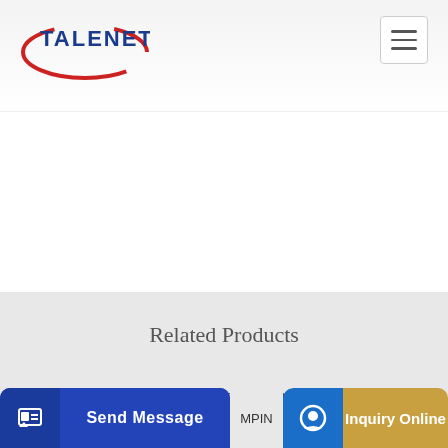TALENET
Related Products
China 43m Ready Mix Concrete Pump Truck 30ton
Mayco LS450 Concrete Pump
Send Message | MPIN | Inquiry Online